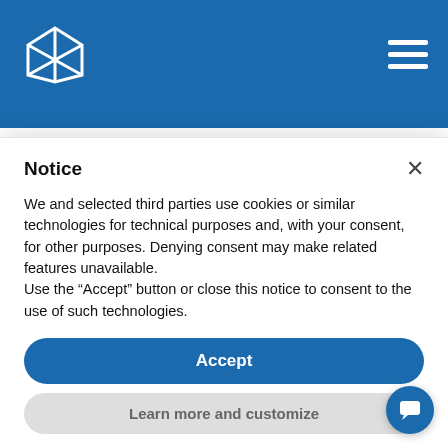August 25, 2022
A Guide to Using Social Media Analytics to Enhance Your Financial Institution's
Notice
We and selected third parties use cookies or similar technologies for technical purposes and, with your consent, for other purposes. Denying consent may make related features unavailable.
Use the “Accept” button or close this notice to consent to the use of such technologies.
Accept
Learn more and customize